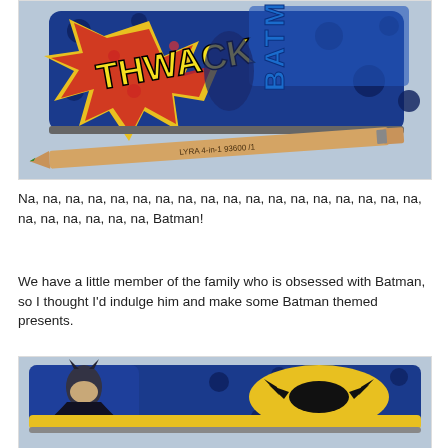[Figure (photo): A Batman-themed pencil case/pouch with comic book style graphics showing 'THWACK' text and Batman silhouette in blue, yellow, and red colors, with a wooden pencil (LYRA 4-in-1 colored pencil) lying in front of it on a light blue surface.]
Na, na, na, na, na, na, na, na, na, na, na, na, na, na, na, na, na, na, na, na, na, na, na, na, Batman!
We have a little member of the family who is obsessed with Batman, so I thought I'd indulge him and make some Batman themed presents.
[Figure (photo): A narrow Batman-themed pencil case/pouch with Batman character graphic on the left and the yellow Batman logo on a blue polka-dot background, with a gold/yellow zipper at the bottom.]